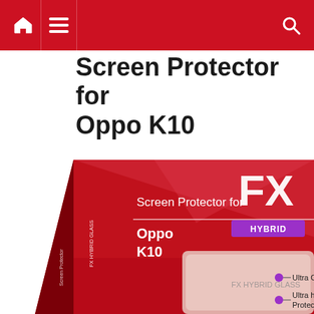Navigation bar with home, menu, and search icons
Screen Protector for Oppo K10
[Figure (photo): Product packaging box for FX Hybrid Glass Screen Protector for Oppo K10. Red box with white FX logo, purple HYBRID badge, showing screen protector inside with bullet points: Ultra Clear, Ultra hard Scratch Protection (9H)]